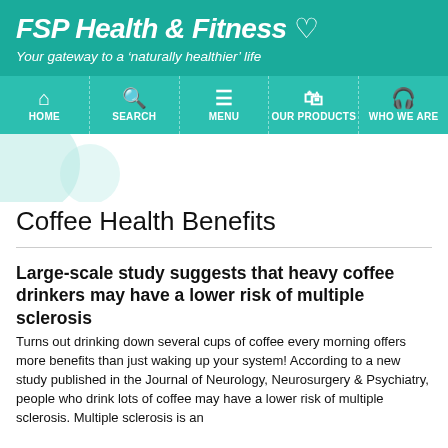FSP Health & Fitness ♡
Your gateway to a 'naturally healthier' life
HOME | SEARCH | MENU | OUR PRODUCTS | WHO WE ARE
Coffee Health Benefits
Large-scale study suggests that heavy coffee drinkers may have a lower risk of multiple sclerosis
Turns out drinking down several cups of coffee every morning offers more benefits than just waking up your system! According to a new study published in the Journal of Neurology, Neurosurgery & Psychiatry, people who drink lots of coffee may have a lower risk of multiple sclerosis. Multiple sclerosis is an